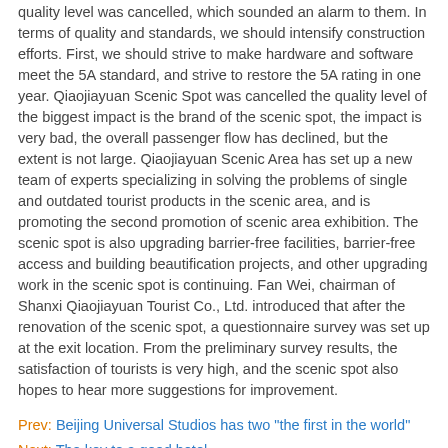quality level was cancelled, which sounded an alarm to them. In terms of quality and standards, we should intensify construction efforts. First, we should strive to make hardware and software meet the 5A standard, and strive to restore the 5A rating in one year. Qiaojiayuan Scenic Spot was cancelled the quality level of the biggest impact is the brand of the scenic spot, the impact is very bad, the overall passenger flow has declined, but the extent is not large. Qiaojiayuan Scenic Area has set up a new team of experts specializing in solving the problems of single and outdated tourist products in the scenic area, and is promoting the second promotion of scenic area exhibition. The scenic spot is also upgrading barrier-free facilities, barrier-free access and building beautification projects, and other upgrading work in the scenic spot is continuing. Fan Wei, chairman of Shanxi Qiaojiayuan Tourist Co., Ltd. introduced that after the renovation of the scenic spot, a questionnaire survey was set up at the exit location. From the preliminary survey results, the satisfaction of tourists is very high, and the scenic spot also hopes to hear more suggestions for improvement.
Prev: Beijing Universal Studios has two "the first in the world"
Next: The key to a good hotel